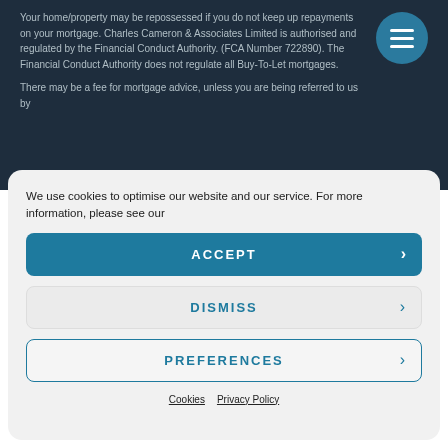Your home/property may be repossessed if you do not keep up repayments on your mortgage. Charles Cameron & Associates Limited is authorised and regulated by the Financial Conduct Authority. (FCA Number 722890). The Financial Conduct Authority does not regulate all Buy-To-Let mortgages.
There may be a fee for mortgage advice, unless you are being referred to us by
We use cookies to optimise our website and our service. For more information, please see our
ACCEPT
DISMISS
PREFERENCES
Cookies  Privacy Policy